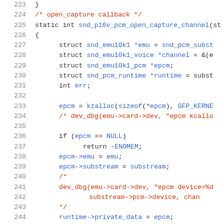[Figure (screenshot): Source code listing in C, lines 223-244, showing snd_p16v_pcm_open_capture_channel function with syntax highlighting. Line numbers in gray, comments in red/orange, identifiers in blue, other code in dark.]